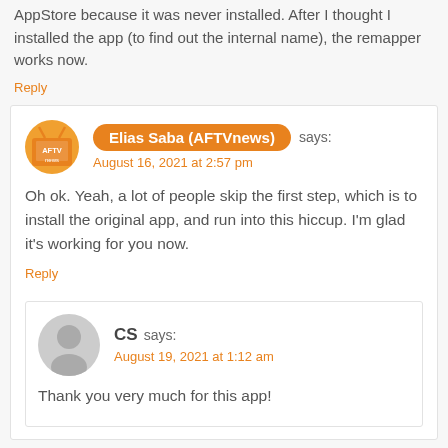AppStore because it was never installed. After I thought I installed the app (to find out the internal name), the remapper works now.
Reply
Elias Saba (AFTVnews) says:
August 16, 2021 at 2:57 pm
Oh ok. Yeah, a lot of people skip the first step, which is to install the original app, and run into this hiccup. I'm glad it's working for you now.
Reply
CS says:
August 19, 2021 at 1:12 am
Thank you very much for this app!